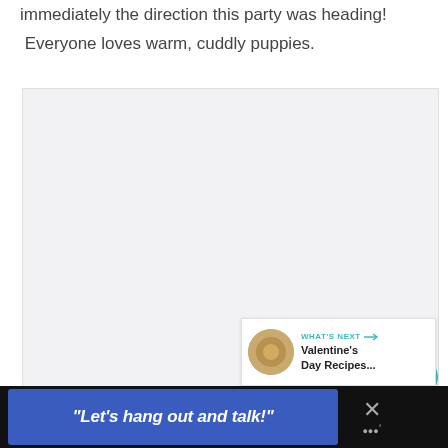immediately the direction this party was heading!
Everyone loves warm, cuddly puppies.
[Figure (photo): Large image placeholder area (light gray background), with interactive buttons: a teal heart/like button showing count 5, and a share button. A 'What's Next' panel in the bottom-right corner shows a thumbnail and text 'Valentine's Day Recipes...']
“Let’s hang out and talk!”